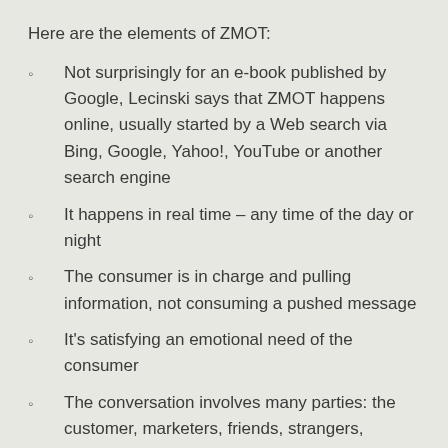Here are the elements of ZMOT:
Not surprisingly for an e-book published by Google, Lecinski says that ZMOT happens online, usually started by a Web search via Bing, Google, Yahoo!, YouTube or another search engine
It happens in real time – any time of the day or night
The consumer is in charge and pulling information, not consuming a pushed message
It's satisfying an emotional need of the consumer
The conversation involves many parties: the customer, marketers, friends, strangers,